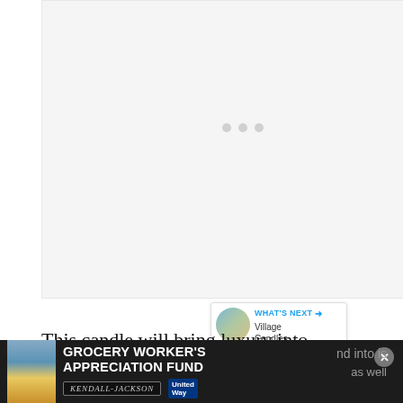[Figure (photo): Large light gray placeholder image area with faint loading dots in center]
[Figure (photo): Circular blue like/heart button with count of 1 and circular share button below]
[Figure (screenshot): What's Next promo box with thumbnail showing Village Candles...]
This candle will bring luxury into your home through the fragrance, but also through the appearance — and into is most as well
[Figure (photo): Grocery Worker's Appreciation Fund advertisement banner with Kendall Jackson and United Way logos, with close button]